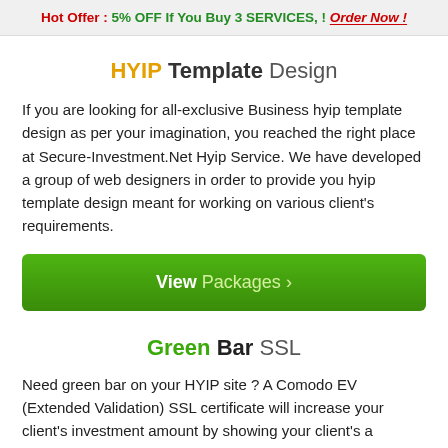Hot Offer : 5% OFF If You Buy 3 SERVICES, ! Order Now!
HYIP Template Design
If you are looking for all-exclusive Business hyip template design as per your imagination, you reached the right place at Secure-Investment.Net Hyip Service. We have developed a group of web designers in order to provide you hyip template design meant for working on various client's requirements.
View Packages >
Green Bar SSL
Need green bar on your HYIP site ? A Comodo EV (Extended Validation) SSL certificate will increase your client's investment amount by showing your client's a resalable secure green sign, the green browser address bar. Full business validation provides full